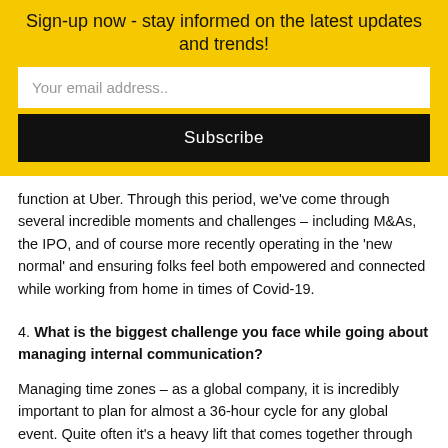Sign-up now - stay informed on the latest updates and trends!
Your email address..
Subscribe
function at Uber. Through this period, we've come through several incredible moments and challenges – including M&As, the IPO, and of course more recently operating in the 'new normal' and ensuring folks feel both empowered and connected while working from home in times of Covid-19.
4. What is the biggest challenge you face while going about managing internal communication?
Managing time zones – as a global company, it is incredibly important to plan for almost a 36-hour cycle for any global event. Quite often it's a heavy lift that comes together through incredible cross-functional and